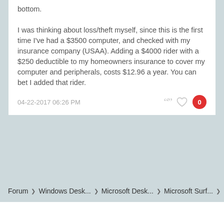bottom.

I was thinking about loss/theft myself, since this is the first time I've had a $3500 computer, and checked with my insurance company (USAA). Adding a $4000 rider with a $250 deductible to my homeowners insurance to cover my computer and peripherals, costs $12.96 a year. You can bet I added that rider.
04-22-2017 06:26 PM
Forum › Windows Desk... › Microsoft Desk... › Microsoft Surf... ›